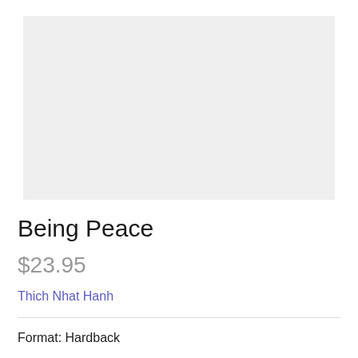[Figure (photo): Light gray rectangular image placeholder for book cover]
Being Peace
$23.95
Thich Nhat Hanh
Format: Hardback